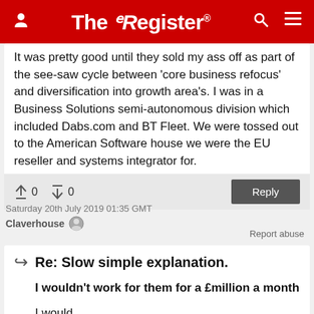The Register
It was pretty good until they sold my ass off as part of the see-saw cycle between 'core business refocus' and diversification into growth area's. I was in a Business Solutions semi-autonomous division which included Dabs.com and BT Fleet. We were tossed out to the American Software house we were the EU reseller and systems integrator for.
↑0  ↓0  Reply
Saturday 20th July 2019 01:35 GMT
Claverhouse
Report abuse
Re: Slow simple explanation.
I wouldn't work for them for a £million a month
I would.